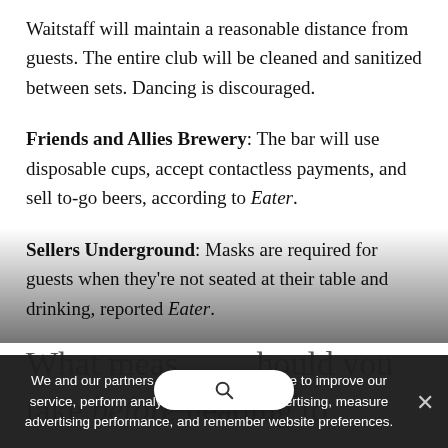Waitstaff will maintain a reasonable distance from guests. The entire club will be cleaned and sanitized between sets. Dancing is discouraged.
Friends and Allies Brewery: The bar will use disposable cups, accept contactless payments, and sell to-go beers, according to Eater.
Sellers Underground: Masks are required for guests when they're not seated at their table and drinking, reported Eater.
What measures should you take before heading to...
We and our partners use cookies on this site to improve our service, perform analytics, personalize advertising, measure advertising performance, and remember website preferences.